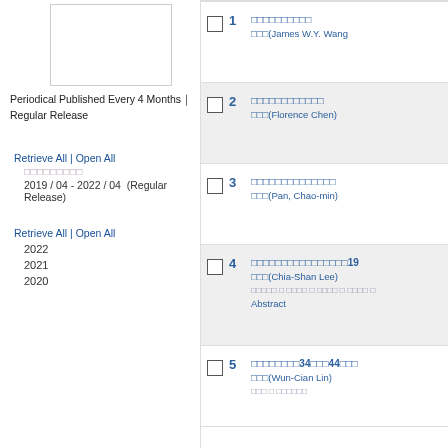[Figure (other): Small white box/image placeholder in the left panel]
Periodical Published Every 4 Months｜Regular Release
Retrieve All | Open All
□□□□□□□□□
2019 / 04 - 2022 / 04  (Regular Release)
Retrieve All | Open All
2022
2021
2020
1  □□□□□□□□□□  □□□(James W.Y. Wang
2  □□□□□□□□□□□□  □□□(Florence Chen)
3  □□□□□□□□□□□□□□  □□□(Pan, Chao-min)
4  □□□□□□□□□□□□□□□□19□  □□□(Chia-Shan Lee)  □□□□□ □ □□□□ □ □□□□ □ □□□□ □  Abstract
5  □□□□□□□□34□□□44□□□  □□□(Wun-Cian Lin)  □□□ □ □□□□□□